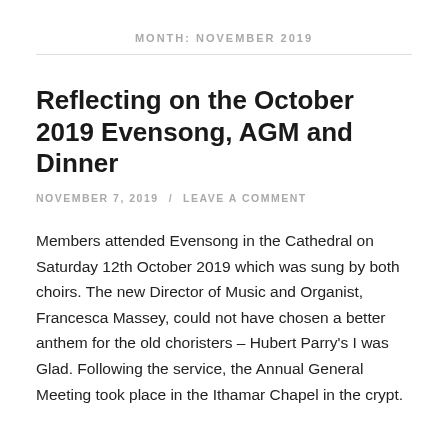MONTH: NOVEMBER 2019
Reflecting on the October 2019 Evensong, AGM and Dinner
NOVEMBER 7, 2019 / LEAVE A COMMENT
Members attended Evensong in the Cathedral on Saturday 12th October 2019 which was sung by both choirs. The new Director of Music and Organist, Francesca Massey, could not have chosen a better anthem for the old choristers – Hubert Parry's I was Glad. Following the service, the Annual General Meeting took place in the Ithamar Chapel in the crypt.